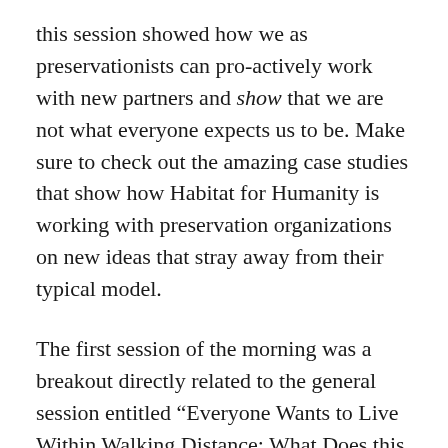this session showed how we as preservationists can pro-actively work with new partners and show that we are not what everyone expects us to be. Make sure to check out the amazing case studies that show how Habitat for Humanity is working with preservation organizations on new ideas that stray away from their typical model.
The first session of the morning was a breakout directly related to the general session entitled “Everyone Wants to Live Within Walking Distance: What Does this Mean for Preservation?” The panelists included and people like David Dixon, Mary Morreson and